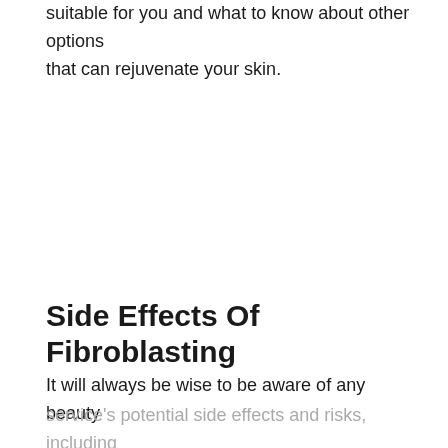suitable for you and what to know about other options that can rejuvenate your skin.
Side Effects Of Fibroblasting
It will always be wise to be aware of any beauty service's potential side effects and risks, including plasma fibroblast. One of the first symptoms to learn